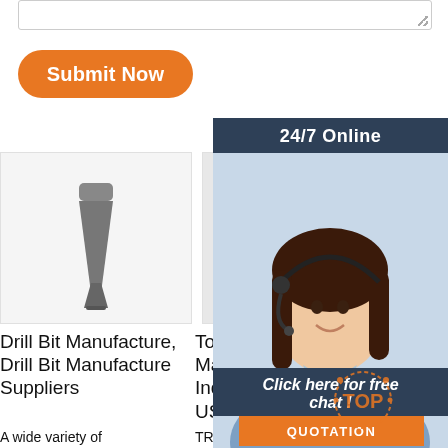[Figure (screenshot): Textarea input box with resize handle at bottom right]
Submit Now
[Figure (photo): 24/7 Online customer service representative with headset, smiling]
24/7 Online
Click here for free chat !
QUOTATION
[Figure (photo): Drill bit product image - flat chisel type drill bit]
[Figure (photo): Top drill bit manufacturers product image - tricone drill bit]
Drill Bit Manufacture, Drill Bit Manufacture Suppliers
Top Drill Bit Manufacturers In India, Middle East, USA ...
He Longyue Drill Bit Manufacture Co., Ltd. -
A wide variety of
TRHEE-CONE B
Top Drill Bit Man